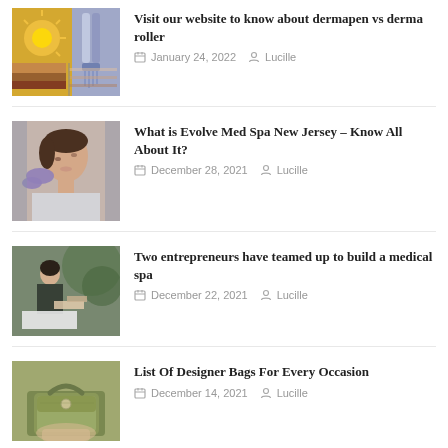[Figure (photo): Thumbnail image for dermapen vs derma roller article - skin treatment diagram]
Visit our website to know about dermapen vs derma roller
January 24, 2022  Lucille
[Figure (photo): Thumbnail image for Evolve Med Spa article - woman receiving facial treatment]
What is Evolve Med Spa New Jersey – Know All About It?
December 28, 2021  Lucille
[Figure (photo): Thumbnail image for medical spa entrepreneurs article - spa treatment scene]
Two entrepreneurs have teamed up to build a medical spa
December 22, 2021  Lucille
[Figure (photo): Thumbnail image for designer bags article - green designer handbag]
List Of Designer Bags For Every Occasion
December 14, 2021  Lucille
[Figure (photo): Thumbnail image for partially visible article at bottom]
Few Facts To Know About The Pat...